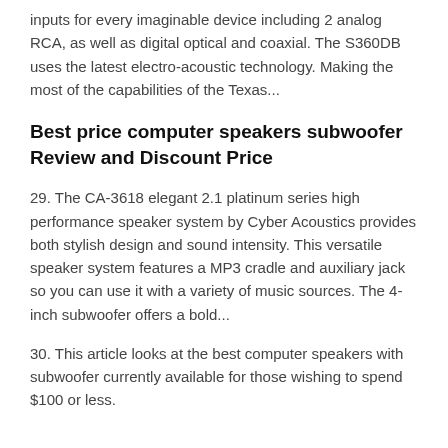inputs for every imaginable device including 2 analog RCA, as well as digital optical and coaxial. The S360DB uses the latest electro-acoustic technology. Making the most of the capabilities of the Texas...
Best price computer speakers subwoofer Review and Discount Price
29. The CA-3618 elegant 2.1 platinum series high performance speaker system by Cyber Acoustics provides both stylish design and sound intensity. This versatile speaker system features a MP3 cradle and auxiliary jack so you can use it with a variety of music sources. The 4-inch subwoofer offers a bold...
30. This article looks at the best computer speakers with subwoofer currently available for those wishing to spend $100 or less.